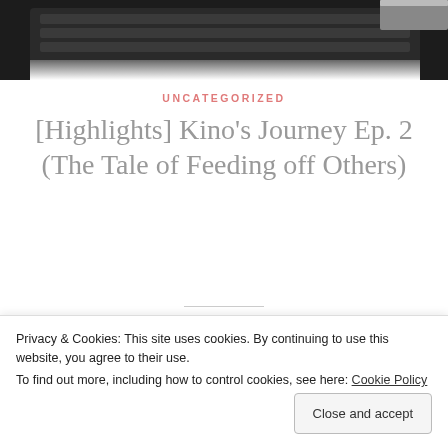[Figure (photo): Top portion of a dark keyboard/device photo, cropped at the bottom]
UNCATEGORIZED
[Highlights] Kino's Journey Ep. 2 (The Tale of Feeding off Others)
Sep 27, 2020 / moyatori / 21 Comments
September's not even over and it feels like winter already (T_T)
Privacy & Cookies: This site uses cookies. By continuing to use this website, you agree to their use. To find out more, including how to control cookies, see here: Cookie Policy
Close and accept